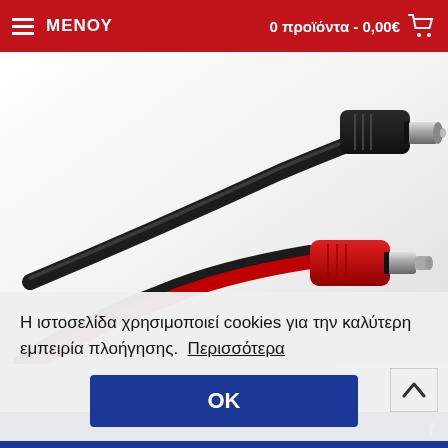ΜΕΝΟΥ   0 προϊόντα - 0,00€
[Figure (photo): Audio cables with black and red TRS/TS connectors on white background]
Η ιστοσελίδα χρησιμοποιεί cookies για την καλύτερη εμπειρία πλοήγησης.  Περισσότερα
OK